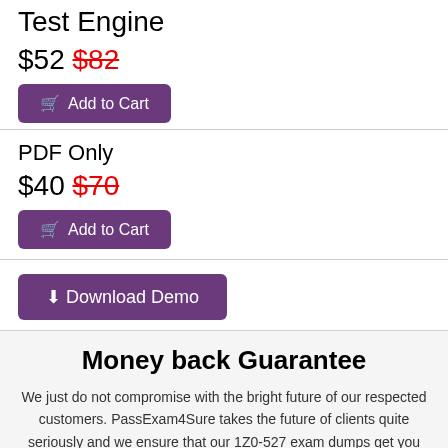Test Engine
$52 $82
Add to Cart
PDF Only
$40 $70
Add to Cart
Download Demo
Money back Guarantee
We just do not compromise with the bright future of our respected customers. PassExam4Sure takes the future of clients quite seriously and we ensure that our 1Z0-527 exam dumps get you through the line. If you think that our exam question and answers